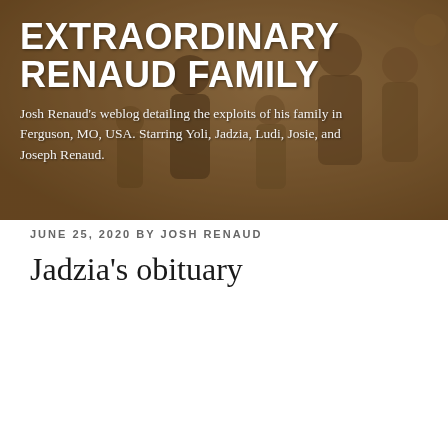[Figure (photo): Family photo banner showing multiple people posing together with a warm tan/brown background. Header banner for the Extraordinary Renaud Family blog.]
EXTRAORDINARY RENAUD FAMILY
Josh Renaud's weblog detailing the exploits of his family in Ferguson, MO, USA. Starring Yoli, Jadzia, Ludi, Josie, and Joseph Renaud.
JUNE 25, 2020 BY JOSH RENAUD
Jadzia's obituary